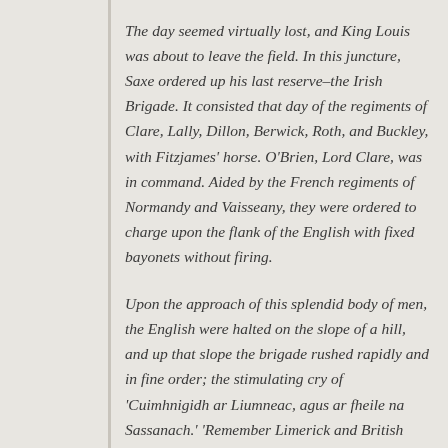The day seemed virtually lost, and King Louis was about to leave the field. In this juncture, Saxe ordered up his last reserve–the Irish Brigade. It consisted that day of the regiments of Clare, Lally, Dillon, Berwick, Roth, and Buckley, with Fitzjames' horse. O'Brien, Lord Clare, was in command. Aided by the French regiments of Normandy and Vaisseany, they were ordered to charge upon the flank of the English with fixed bayonets without firing.
Upon the approach of this splendid body of men, the English were halted on the slope of a hill, and up that slope the brigade rushed rapidly and in fine order; the stimulating cry of 'Cuimhnigidh ar Liumneac, agus ar fheile na Sassanach.' 'Remember Limerick and British